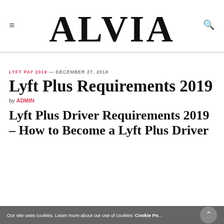ALVIA
LYFT PAY 2019 — DECEMBER 27, 2018
Lyft Plus Requirements 2019
by ADMIN
Lyft Plus Driver Requirements 2019 – How to Become a Lyft Plus Driver
Our site uses cookies. Learn more about our use of cookies: Cookie Po...